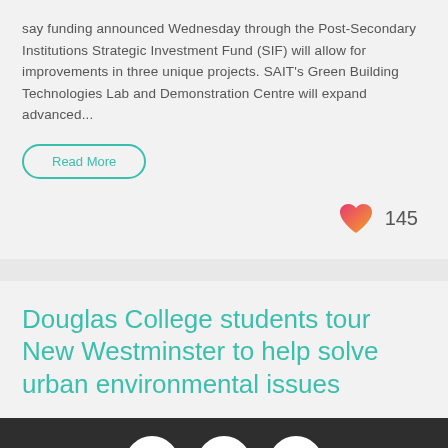say funding announced Wednesday through the Post-Secondary Institutions Strategic Investment Fund (SIF) will allow for improvements in three unique projects. SAIT's Green Building Technologies Lab and Demonstration Centre will expand advanced...
Read More
145
Douglas College students tour New Westminster to help solve urban environmental issues
Expand Footer